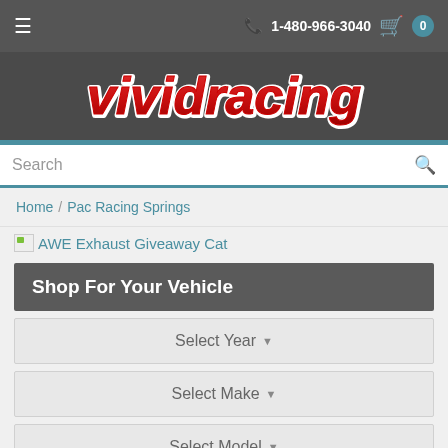☰  📞 1-480-966-3040  🛒 0
[Figure (logo): Vivid Racing logo — red stylized text with white outline on dark grey background]
Search
Home / Pac Racing Springs
[Figure (other): AWE Exhaust Giveaway Cat banner image (broken/not loaded)]
Shop For Your Vehicle
Select Year ▾
Select Make ▾
Select Model ▾